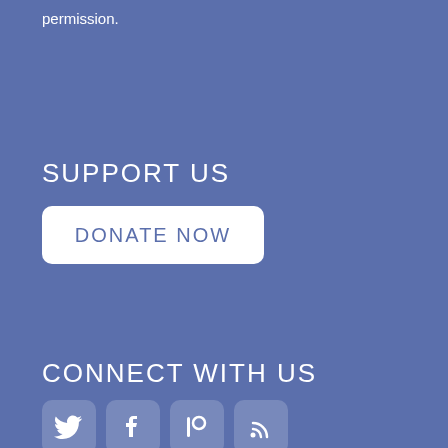permission.
SUPPORT US
DONATE NOW
CONNECT WITH US
[Figure (illustration): Social media icons: Twitter, Facebook, Patreon, RSS feed]